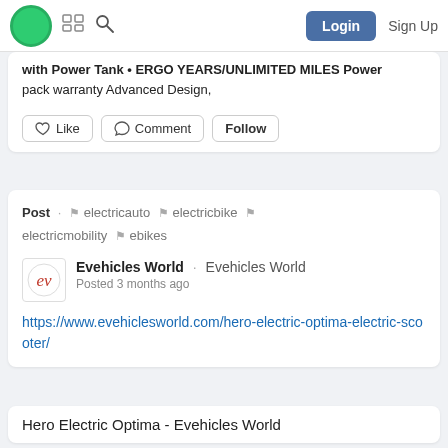Login  Sign Up
with Power Tank • ERGO YEARS/UNLIMITED MILES Power pack warranty Advanced Design,
Like  Comment  Follow
Post · electricauto  electricbike  electricmobility  ebikes
Evehicles World · Evehicles World
Posted 3 months ago
https://www.evehiclesworld.com/hero-electric-optima-electric-scooter/
Hero Electric Optima - Evehicles World